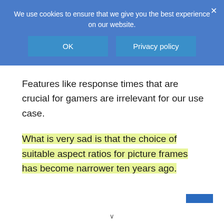We use cookies to ensure that we give you the best experience on our website.
OK
Privacy policy
Features like response times that are crucial for gamers are irrelevant for our use case.
What is very sad is that the choice of suitable aspect ratios for picture frames has become narrower ten years ago.